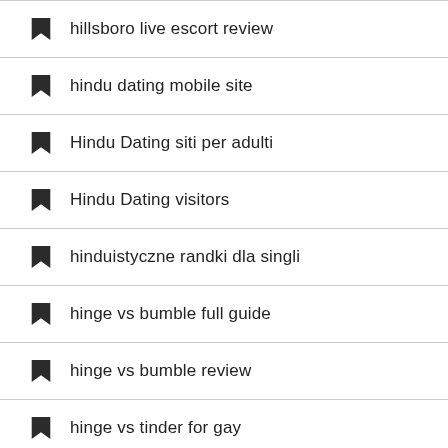hillsboro live escort review
hindu dating mobile site
Hindu Dating siti per adulti
Hindu Dating visitors
hinduistyczne randki dla singli
hinge vs bumble full guide
hinge vs bumble review
hinge vs tinder for gay